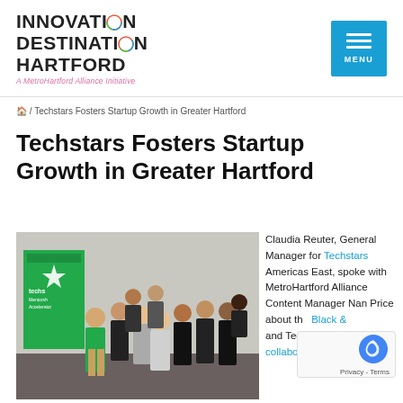INNOVATION DESTINATION HARTFORD — A MetroHartford Alliance Initiative
🏠 / Techstars Fosters Startup Growth in Greater Hartford
Techstars Fosters Startup Growth in Greater Hartford
[Figure (photo): Group photo of Techstars team members standing together indoors, with a green Techstars Mentorship Accelerator banner visible on the left.]
Claudia Reuter, General Manager for Techstars Americas East, spoke with MetroHartford Alliance Content Manager Nan Price about the Black & and Techstars collaboration and